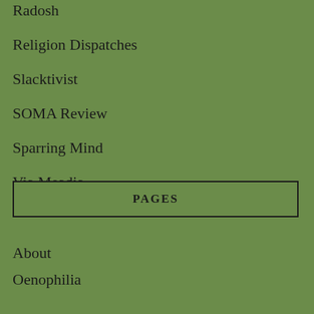Radosh
Religion Dispatches
Slacktivist
SOMA Review
Sparring Mind
Via Meadia
PAGES
About
Oenophilia